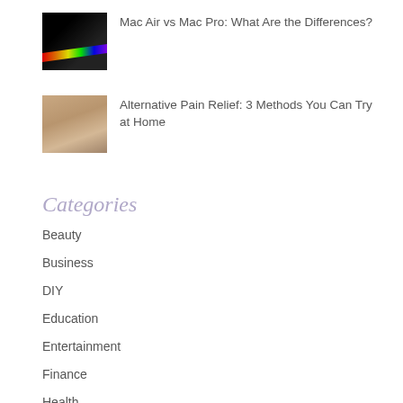[Figure (photo): Dark laptop with rainbow light spectrum reflection]
Mac Air vs Mac Pro: What Are the Differences?
[Figure (photo): Hands performing massage therapy on a person]
Alternative Pain Relief: 3 Methods You Can Try at Home
Categories
Beauty
Business
DIY
Education
Entertainment
Finance
Health